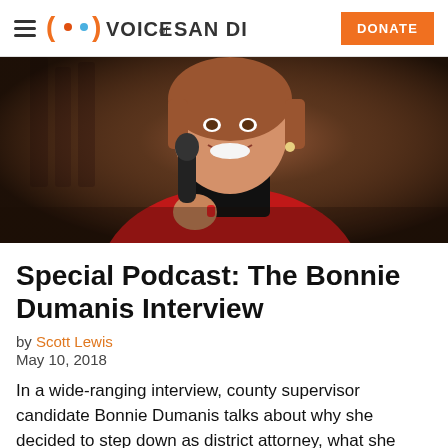Voice of San Diego
[Figure (photo): A smiling woman with short reddish-brown hair, wearing a red blazer and black turtleneck with a silver necklace, holding a black microphone. Wine bottles are visible in the background.]
Special Podcast: The Bonnie Dumanis Interview
by Scott Lewis
May 10, 2018
In a wide-ranging interview, county supervisor candidate Bonnie Dumanis talks about why she decided to step down as district attorney, what she knew about the man convicted of